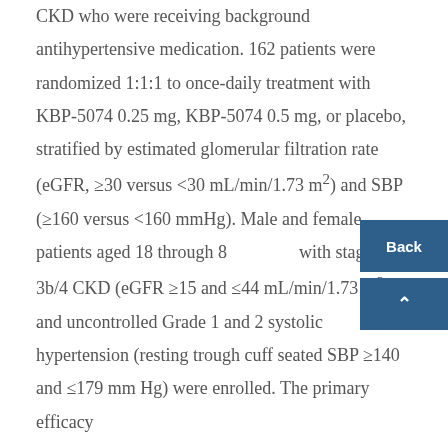CKD who were receiving background antihypertensive medication. 162 patients were randomized 1:1:1 to once-daily treatment with KBP-5074 0.25 mg, KBP-5074 0.5 mg, or placebo, stratified by estimated glomerular filtration rate (eGFR, ≥30 versus <30 mL/min/1.73 m²) and SBP (≥160 versus <160 mmHg). Male and female patients aged 18 through 85 with stage 3b/4 CKD (eGFR ≥15 and ≤44 mL/min/1.73 m²) and uncontrolled Grade 1 and 2 systolic hypertension (resting trough cuff seated SBP ≥140 and ≤179 mm Hg) were enrolled. The primary efficacy